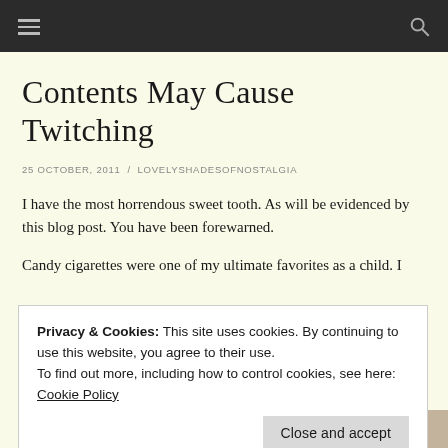≡  🔍
Contents May Cause Twitching
25 OCTOBER, 2011 / LOVELYSHADESOFNOSTALGIA
I have the most horrendous sweet tooth. As will be evidenced by this blog post. You have been forewarned.
Candy cigarettes were one of my ultimate favorites as a child. I
Privacy & Cookies: This site uses cookies. By continuing to use this website, you agree to their use.
To find out more, including how to control cookies, see here: Cookie Policy
[Close and accept]
candy